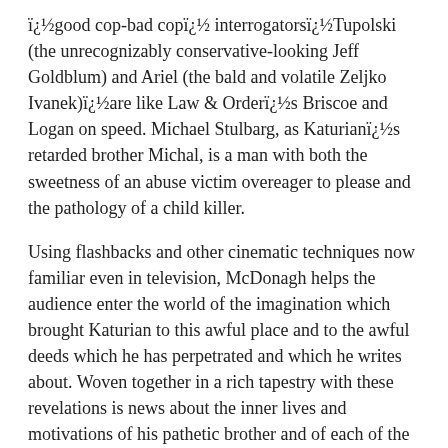ï¿½good cop-bad copï¿½ interrogatorsï¿½Tupolski (the unrecognizably conservative-looking Jeff Goldblum) and Ariel (the bald and volatile Zeljko Ivanek)ï¿½are like Law & Orderï¿½s Briscoe and Logan on speed. Michael Stulbarg, as Kulturianï¿½s retarded brother Michal, is a man with both the sweetness of an abuse victim overeager to please and the pathology of a child killer.
Using flashbacks and other cinematic techniques now familiar even in television, McDonagh helps the audience enter the world of the imagination which brought Katurian to this awful place and to the awful deeds which he has perpetrated and which he writes about. Woven together in a rich tapestry with these revelations is news about the inner lives and motivations of his pathetic brother and of each of the detectives as well. To which is added, considering the gruesome material, a relatively happy ending.
In a bygone era, great drama on the stage could consist of a little yelling or perhaps a slap in the face. Weï¿½ve now become so inured to this sort of thing that it takes